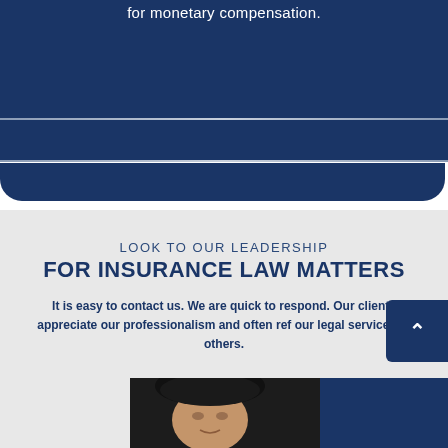for monetary compensation.
LOOK TO OUR LEADERSHIP
FOR INSURANCE LAW MATTERS
It is easy to contact us. We are quick to respond. Our clients appreciate our professionalism and often refer our legal services to others.
[Figure (photo): Professional headshot of a man with dark hair against a dark background, partially obscured by a blue overlay box on the right side.]